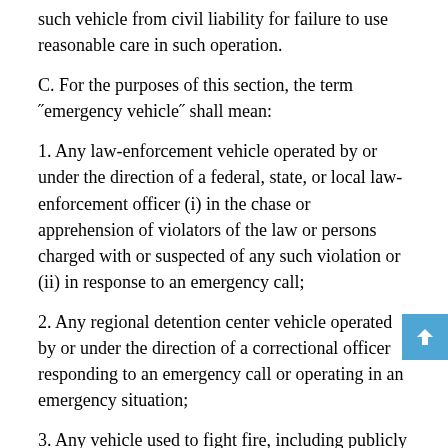…nothing in this section shall release the operator of any such vehicle from civil liability for failure to use reasonable care in such operation.
C. For the purposes of this section, the term "emergency vehicle" shall mean:
1. Any law-enforcement vehicle operated by or under the direction of a federal, state, or local law-enforcement officer (i) in the chase or apprehension of violators of the law or persons charged with or suspected of any such violation or (ii) in response to an emergency call;
2. Any regional detention center vehicle operated by or under the direction of a correctional officer responding to an emergency call or operating in an emergency situation;
3. Any vehicle used to fight fire, including publicly owned state forest warden vehicles, when traveling in response to a fire alarm or emergency call;
4. Any …direction of this chapter…